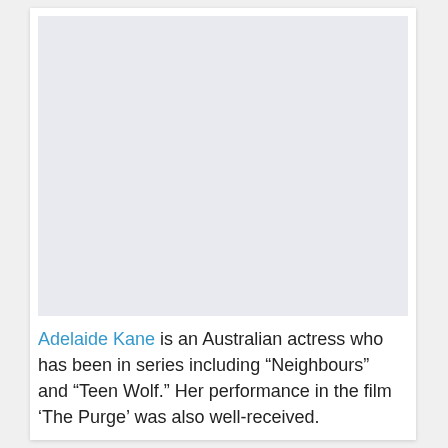[Figure (photo): Large photo placeholder area, light grey background, representing an image of Adelaide Kane]
Adelaide Kane is an Australian actress who has been in series including “Neighbours” and “Teen Wolf.” Her performance in the film ‘The Purge’ was also well-received.